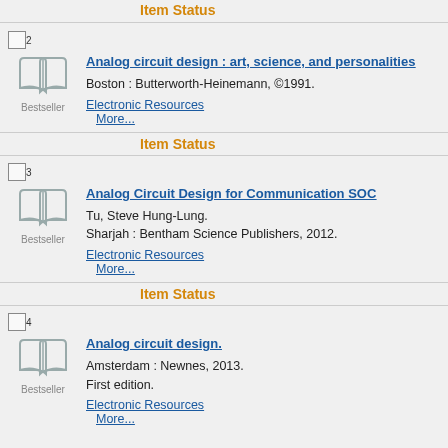Item Status
2 Analog circuit design : art, science, and personalities
Boston : Butterworth-Heinemann, ©1991.
Electronic Resources
More...
Item Status
3 Analog Circuit Design for Communication SOC
Tu, Steve Hung-Lung.
Sharjah : Bentham Science Publishers, 2012.
Electronic Resources
More...
Item Status
4 Analog circuit design.
Amsterdam : Newnes, 2013.
First edition.
Electronic Resources
More...